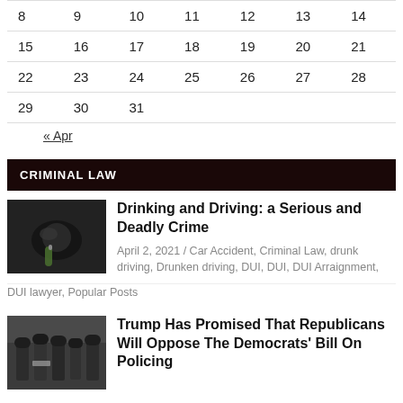| 8 | 9 | 10 | 11 | 12 | 13 | 14 |
| 15 | 16 | 17 | 18 | 19 | 20 | 21 |
| 22 | 23 | 24 | 25 | 26 | 27 | 28 |
| 29 | 30 | 31 |  |  |  |  |
« Apr
CRIMINAL LAW
[Figure (photo): Person holding a beer bottle while driving]
Drinking and Driving: a Serious and Deadly Crime
April 2, 2021 / Car Accident, Criminal Law, drunk driving, Drunken driving, DUI, DUI, DUI Arraignment, DUI lawyer, Popular Posts
[Figure (photo): Police officers in riot gear]
Trump Has Promised That Republicans Will Oppose The Democrats' Bill On Policing